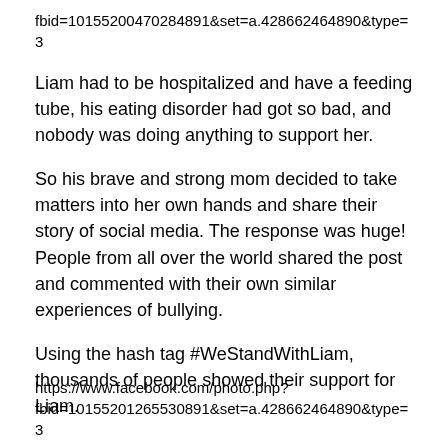fbid=10155200470284891&set=a.428662464890&type=3
Liam had to be hospitalized and have a feeding tube, his eating disorder had got so bad, and nobody was doing anything to support her.
So his brave and strong mom decided to take matters into her own hands and share their story of social media. The response was huge! People from all over the world shared the post and commented with their own similar experiences of bullying.
Using the hash tag #WeStandWithLiam, thousands of people showed their support for Liam.
https://www.facebook.com/photo.php?
fbid=10155201265530891&set=a.428662464890&type=3